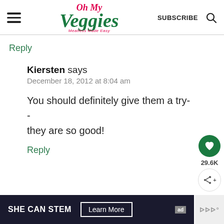Oh My Veggies — Meatless Made Easy | SUBSCRIBE | Search
Reply
Kiersten says
December 18, 2012 at 8:04 am

You should definitely give them a try-- they are so good!
Reply
[Figure (infographic): SHE CAN STEM advertisement banner with Learn More button and ad label]
[Figure (other): Social share buttons: heart/like button showing 29.6K and share button]